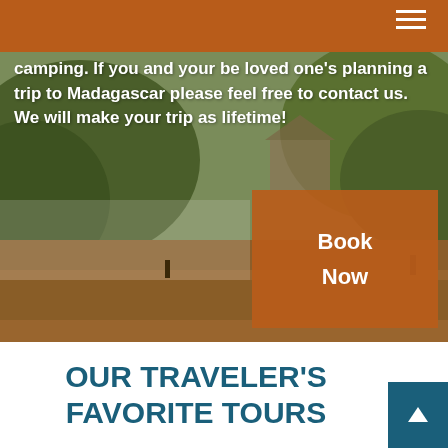camping. If you and your be loved one's planning a trip to Madagascar please feel free to contact us. We will make your trip as lifetime!
[Figure (other): Book Now button overlay box with orange background on landscape photo of Madagascar countryside]
OUR TRAVELER'S FAVORITE TOURS